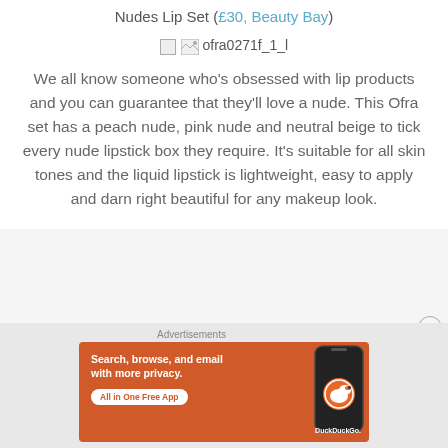Nudes Lip Set (£30, Beauty Bay)
[Figure (photo): Broken image placeholder labeled ofra0271f_1_l]
We all know someone who's obsessed with lip products and you can guarantee that they'll love a nude. This Ofra set has a peach nude, pink nude and neutral beige to tick every nude lipstick box they require. It's suitable for all skin tones and the liquid lipstick is lightweight, easy to apply and darn right beautiful for any makeup look.
[Figure (screenshot): DuckDuckGo advertisement banner: Search, browse, and email with more privacy. All in One Free App. Shows DuckDuckGo logo on dark phone.]